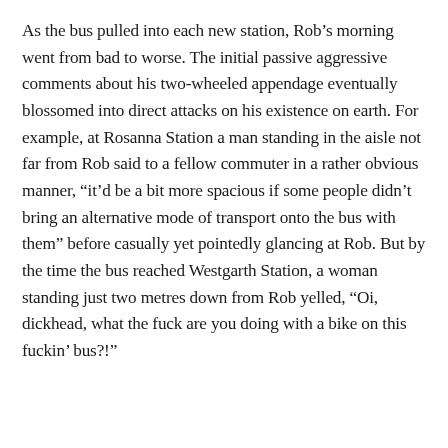As the bus pulled into each new station, Rob's morning went from bad to worse. The initial passive aggressive comments about his two-wheeled appendage eventually blossomed into direct attacks on his existence on earth. For example, at Rosanna Station a man standing in the aisle not far from Rob said to a fellow commuter in a rather obvious manner, “it’d be a bit more spacious if some people didn’t bring an alternative mode of transport onto the bus with them” before casually yet pointedly glancing at Rob. But by the time the bus reached Westgarth Station, a woman standing just two metres down from Rob yelled, “Oi, dickhead, what the fuck are you doing with a bike on this fuckin’ bus?!”